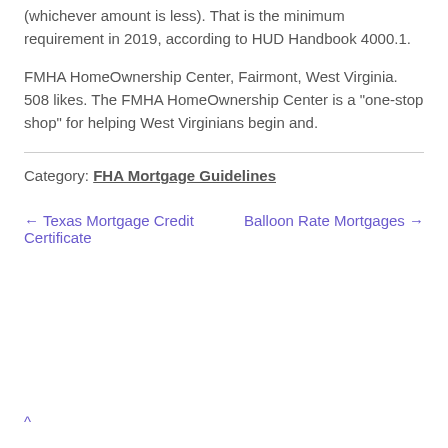(whichever amount is less). That is the minimum requirement in 2019, according to HUD Handbook 4000.1.
FMHA HomeOwnership Center, Fairmont, West Virginia. 508 likes. The FMHA HomeOwnership Center is a "one-stop shop" for helping West Virginians begin and.
Category: FHA Mortgage Guidelines
← Texas Mortgage Credit Certificate
Balloon Rate Mortgages →
^